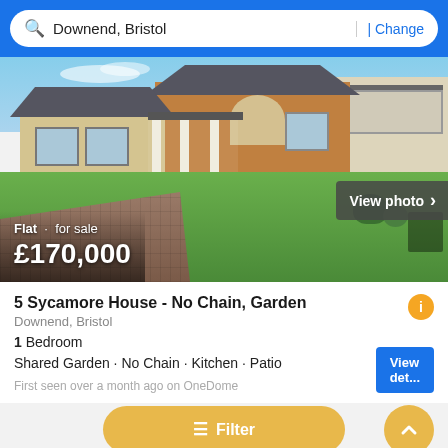Downend, Bristol | Change
[Figure (photo): Exterior photo of a large residential property with brick and cream facade, green lawn, paved driveway, white columns on porch. Overlay shows: Flat · for sale, £170,000. View photo button with chevron.]
5 Sycamore House - No Chain, Garden
Downend, Bristol
1 Bedroom
Shared Garden · No Chain · Kitchen · Patio
First seen over a month ago on OneDome
[Figure (screenshot): Partial bottom image strip visible at the bottom of the page, appears to show outdoor furniture]